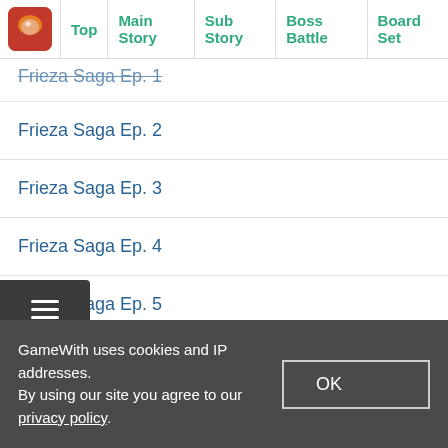Top | Main Story | Sub Story | Boss Battle | Board Set…
Frieza Saga Ep. 1 (partial, top cut off)
Frieza Saga Ep. 2
Frieza Saga Ep. 3
Frieza Saga Ep. 4
Frieza Saga Ep. 5
Frieza Saga Ep. 6
Frieza Saga Ep. 7
Frieza Saga Ep. 8
Androids Saga
GameWith uses cookies and IP addresses. By using our site you agree to our privacy policy.